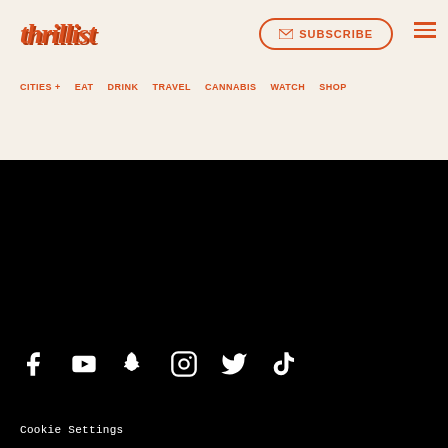thrillist
SUBSCRIBE
CITIES +  EAT  DRINK  TRAVEL  CANNABIS  WATCH  SHOP
[Figure (logo): Social media icons: Facebook, YouTube, Snapchat, Instagram, Twitter, TikTok]
Cookie Settings
Newsletter
Advertise With Us
Careers
Cookie Policy
Do Not Sell My Personal Information